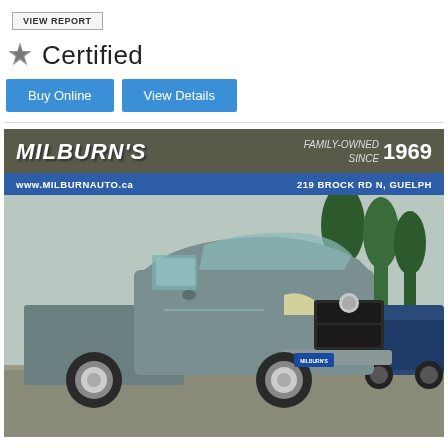[Figure (screenshot): VIEW REPORT button]
Certified
Buy Online | View Details (buttons)
[Figure (photo): Milburn's dealership advertisement banner showing MILBURN'S, FAMILY-OWNED SINCE 1969, www.MILBURNAUTO.ca, 219 BROCK RD N, GUELPH, with a grey Nissan Frontier pickup truck photo]